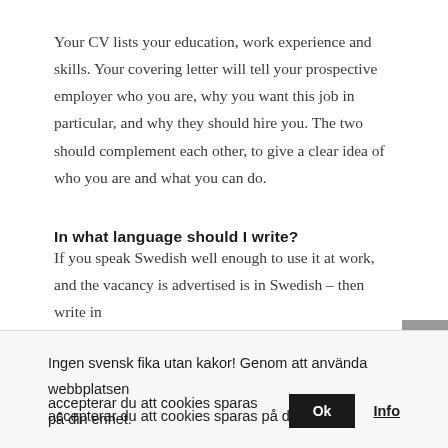Your CV lists your education, work experience and skills. Your covering letter will tell your prospective employer who you are, why you want this job in particular, and why they should hire you. The two should complement each other, to give a clear idea of who you are and what you can do.
In what language should I write?
If you speak Swedish well enough to use it at work, and the vacancy is advertised is in Swedish – then write in
Ingen svensk fika utan kakor! Genom att använda webbplatsen accepterar du att cookies sparas på din enhet.
Ok
Info